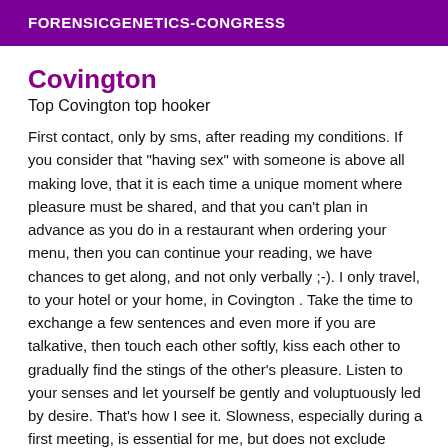FORENSICGENETICS-CONGRESS
Covington
Top Covington top hooker
First contact, only by sms, after reading my conditions. If you consider that "having sex" with someone is above all making love, that it is each time a unique moment where pleasure must be shared, and that you can't plan in advance as you do in a restaurant when ordering your menu, then you can continue your reading, we have chances to get along, and not only verbally ;-). I only travel, to your hotel or your home, in Covington . Take the time to exchange a few sentences and even more if you are talkative, then touch each other softly, kiss each other to gradually find the stings of the other's pleasure. Listen to your senses and let yourself be gently and voluptuously led by desire. That's how I see it. Slowness, especially during a first meeting, is essential for me, but does not exclude wilder moments if the